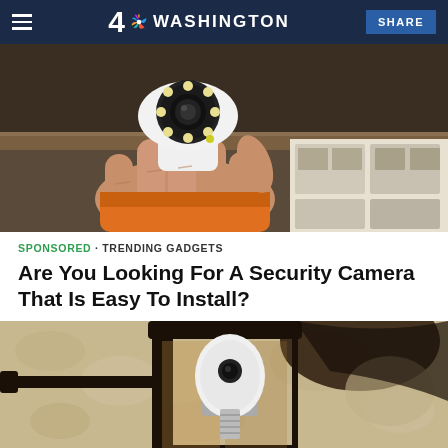4 NBC WASHINGTON  SHARE
[Figure (photo): A hand holding a small white PTZ security camera with a circular lens and LED ring, with orange work glove visible at wrist, unboxing scene in background]
SPONSORED · TRENDING GADGETS
Are You Looking For A Security Camera That Is Easy To Install?
[Figure (photo): An outdoor wall-mounted lantern light fixture with a white bulb-shaped security camera screwed into the socket, mounted on a textured stucco wall]